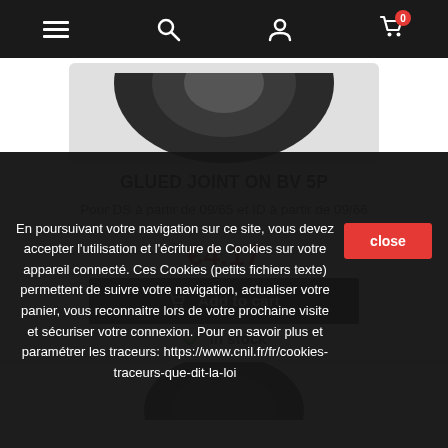Navigation bar with menu, search, account, and cart icons
[Figure (photo): Partial view of a black rubber glued joint / tire product image (top portion visible)]
GLUED JOINT ON BV 5P
Pour DS à partir de 09/65 et ID à partir de 09/66
€4.17
Add to cart
In stock
[Figure (photo): Partial view of a second product image (bottom of page, cropped)]
En poursuivant votre navigation sur ce site, vous devez accepter l'utilisation et l'écriture de Cookies sur votre appareil connecté. Ces Cookies (petits fichiers texte) permettent de suivre votre navigation, actualiser votre panier, vous reconnaitre lors de votre prochaine visite et sécuriser votre connexion. Pour en savoir plus et paramétrer les traceurs: https://www.cnil.fr/fr/cookies-traceurs-que-dit-la-loi